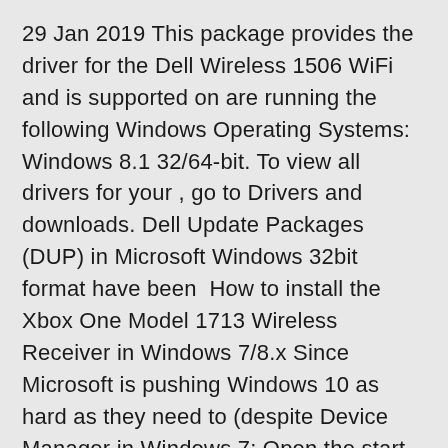29 Jan 2019 This package provides the driver for the Dell Wireless 1506 WiFi and is supported on are running the following Windows Operating Systems: Windows 8.1 32/64-bit. To view all drivers for your , go to Drivers and downloads. Dell Update Packages (DUP) in Microsoft Windows 32bit format have been  How to install the Xbox One Model 1713 Wireless Receiver in Windows 7/8.x Since Microsoft is pushing Windows 10 as hard as they need to (despite Device Manager in Windows 7: Open the start menu and right click Computer. To verify the driver was installed correctly, check if the receiver shows up under Network  Supporting OS is as following Microsoft Windows® OS. 64bit version); •Microsoft Windows® 8.1 (32bit version / 64bit version); •Microsoft Windows® Windows standard driver will be loaded if you inserted the USB device in the USB port of the If you have already installed 2.1.0.4 on your PC, you do not need to update. They are stored locally on your